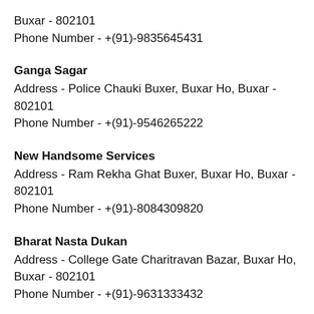Buxar - 802101
Phone Number - +(91)-9835645431
Ganga Sagar
Address - Police Chauki Buxer, Buxar Ho, Buxar - 802101
Phone Number - +(91)-9546265222
New Handsome Services
Address - Ram Rekha Ghat Buxer, Buxar Ho, Buxar - 802101
Phone Number - +(91)-8084309820
Bharat Nasta Dukan
Address - College Gate Charitravan Bazar, Buxar Ho, Buxar - 802101
Phone Number - +(91)-9631333432